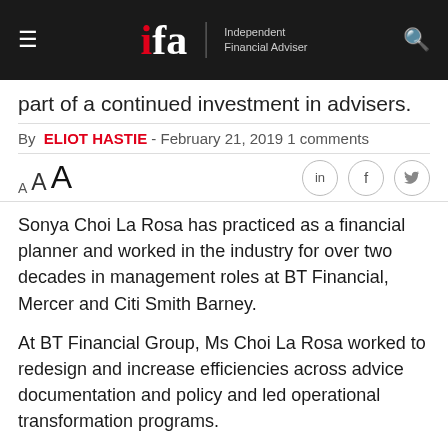ifa — Independent Financial Adviser
part of a continued investment in advisers.
By ELIOT HASTIE - February 21, 2019 1 comments
Sonya Choi La Rosa has practiced as a financial planner and worked in the industry for over two decades in management roles at BT Financial, Mercer and Citi Smith Barney.
At BT Financial Group, Ms Choi La Rosa worked to redesign and increase efficiencies across advice documentation and policy and led operational transformation programs.
Paragem managing director Mr Nathan Jacobesen welcomed Ms Choi La Rosa to the team and said her appointment reflected the group's investment in